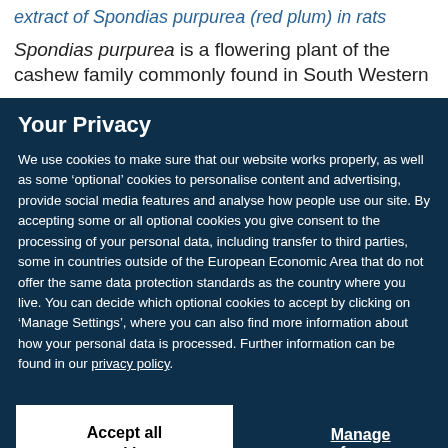extract of Spondias purpurea (red plum) in rats
Spondias purpurea is a flowering plant of the cashew family commonly found in South Western
Your Privacy
We use cookies to make sure that our website works properly, as well as some ‘optional’ cookies to personalise content and advertising, provide social media features and analyse how people use our site. By accepting some or all optional cookies you give consent to the processing of your personal data, including transfer to third parties, some in countries outside of the European Economic Area that do not offer the same data protection standards as the country where you live. You can decide which optional cookies to accept by clicking on ‘Manage Settings’, where you can also find more information about how your personal data is processed. Further information can be found in our privacy policy.
Accept all cookies
Manage preferences